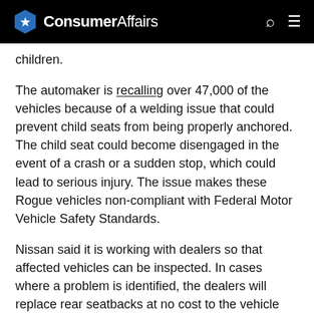ConsumerAffairs
children.
The automaker is recalling over 47,000 of the vehicles because of a welding issue that could prevent child seats from being properly anchored. The child seat could become disengaged in the event of a crash or a sudden stop, which could lead to serious injury. The issue makes these Rogue vehicles non-compliant with Federal Motor Vehicle Safety Standards.
Nissan said it is working with dealers so that affected vehicles can be inspected. In cases where a problem is identified, the dealers will replace rear seatbacks at no cost to the vehicle owner. Recall notification letters will be sent to owners on July 30.
Tesla recalls over 285,000